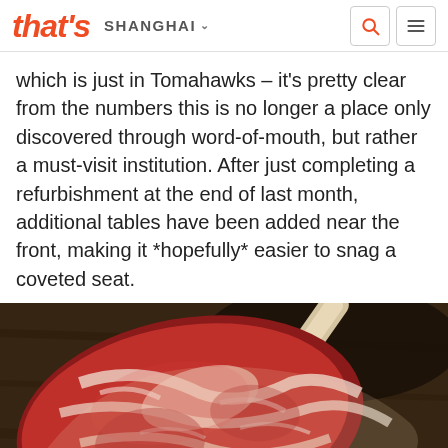that's SHANGHAI
which is just in Tomahawks – it's pretty clear from the numbers this is no longer a place only discovered through word-of-mouth, but rather a must-visit institution. After just completing a refurbishment at the end of last month, additional tables have been added near the front, making it *hopefully* easier to snag a coveted seat.
[Figure (photo): Close-up photograph of a highly marbled Wagyu tomahawk steak resting on a dark wooden surface, showing vivid red meat with extensive white fat marbling and a long bone handle.]